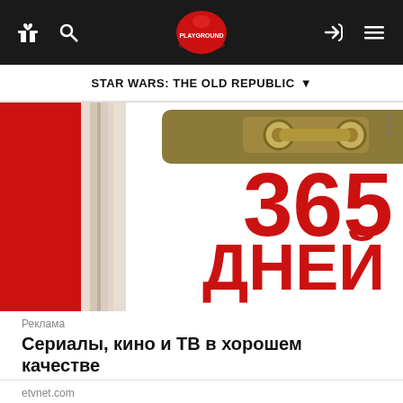PLAYGROUND (logo) — navigation bar with gift icon, search icon, login icon, menu icon
STAR WARS: THE OLD REPUBLIC ▼
[Figure (illustration): Advertisement banner showing '365 ДНЕЙ' text in large red font on a white/red background with a clipboard/book graphic]
Реклама
Сериалы, кино и ТВ в хорошем качестве
etvnet.com